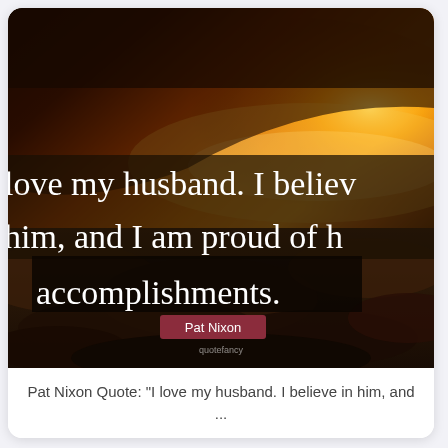[Figure (illustration): Inspirational quote image card showing a dramatic sunset sky with clouds viewed from above. Overlaid text reads: 'I love my husband. I believe in him, and I am proud of his accomplishments.' with the author name 'Pat Nixon' shown in a red badge.]
Pat Nixon Quote: "I love my husband. I believe in him, and ...